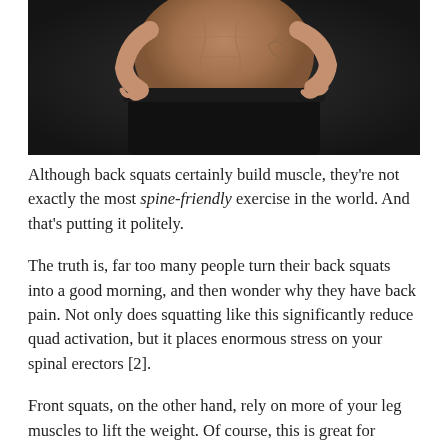[Figure (photo): Person showing torso and midsection, wearing black pants, hands on hips, dark background]
Although back squats certainly build muscle, they're not exactly the most spine-friendly exercise in the world. And that's putting it politely.
The truth is, far too many people turn their back squats into a good morning, and then wonder why they have back pain. Not only does squatting like this significantly reduce quad activation, but it places enormous stress on your spinal erectors [2].
Front squats, on the other hand, rely on more of your leg muscles to lift the weight. Of course, this is great for developing your quads, but it's equally useful for